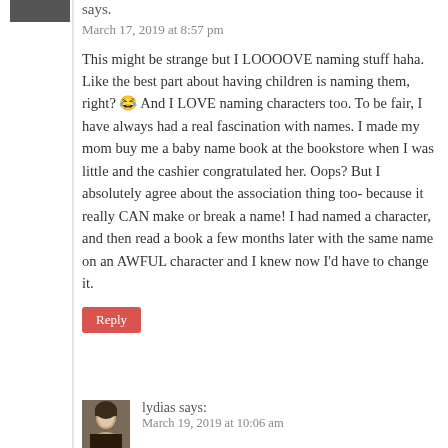says.
March 17, 2019 at 8:57 pm
This might be strange but I LOOOOVE naming stuff haha. Like the best part about having children is naming them, right? 😂 And I LOVE naming characters too. To be fair, I have always had a real fascination with names. I made my mom buy me a baby name book at the bookstore when I was little and the cashier congratulated her. Oops? But I absolutely agree about the association thing too- because it really CAN make or break a name! I had named a character, and then read a book a few months later with the same name on an AWFUL character and I knew now I'd have to change it.
Reply
lydias says.
March 19, 2019 at 10:06 am